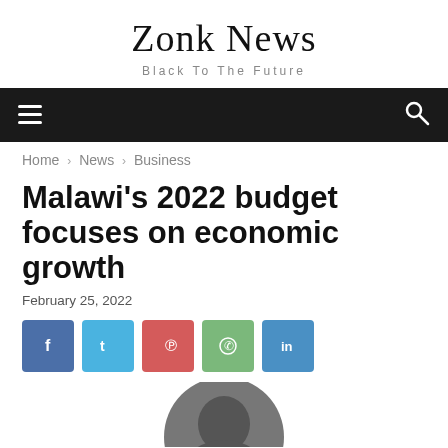Zonk News
Black To The Future
Home › News › Business
Malawi's 2022 budget focuses on economic growth
February 25, 2022
[Figure (other): Social share buttons: Facebook, Twitter, Pinterest, WhatsApp, LinkedIn]
[Figure (photo): Circular headshot photo of a person, partially visible at bottom of page]